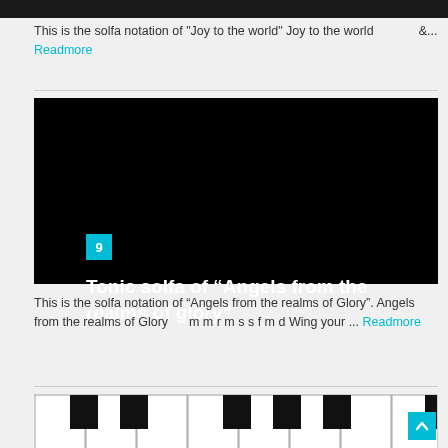[Figure (other): Dark top bar graphic element]
This is the solfa notation of "Joy to the world" Joy to the world                &... Readmore
[Figure (other): Black card image with number badge 9 and title: Tonic solfa of “Angels from the realms of glory”]
This is the solfa notation of “Angels from the realms of Glory”. Angels from the realms of Glory      m m r m s s f m d Wing your ... Readmore
[Figure (other): Piano keyboard image showing black and white keys]